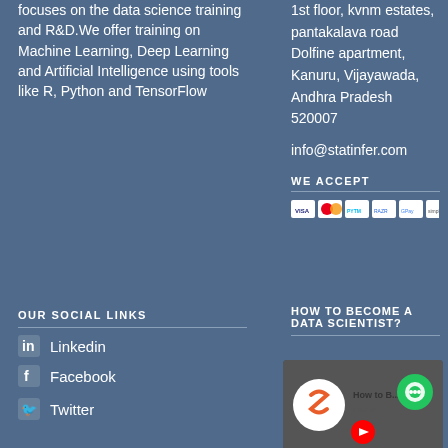focuses on the data science training and R&D. We offer training on Machine Learning, Deep Learning and Artificial Intelligence using tools like R, Python and TensorFlow
1st floor, kvnm estates, pantakalava road Dolfine apartment, Kanuru, Vijayawada, Andhra Pradesh 520007
info@statinfer.com
WE ACCEPT
[Figure (other): Payment method icons: VISA, Mastercard, PayTM, Razorpay, G Pay, Simpl, and one more]
OUR SOCIAL LINKS
Linkedin
Facebook
Twitter
HOW TO BECOME A DATA SCIENTIST?
[Figure (screenshot): YouTube video thumbnail for 'How to Become a Data Scientist' with StatInfer logo and play button, with green chat bubble icon overlay]